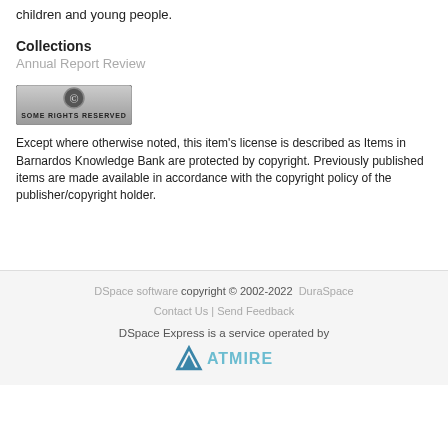children and young people.
Collections
Annual Report Review
[Figure (logo): Creative Commons Some Rights Reserved badge]
Except where otherwise noted, this item's license is described as Items in Barnardos Knowledge Bank are protected by copyright. Previously published items are made available in accordance with the copyright policy of the publisher/copyright holder.
DSpace software copyright © 2002-2022  DuraSpace
Contact Us | Send Feedback
DSpace Express is a service operated by ATMIRE